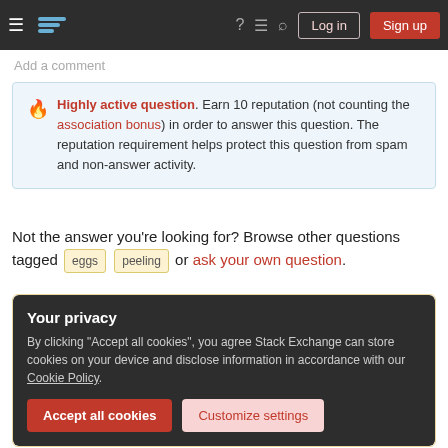Stack Exchange navigation bar with Log in and Sign up buttons
Add a comment
Highly active question. Earn 10 reputation (not counting the association bonus) in order to answer this question. The reputation requirement helps protect this question from spam and non-answer activity.
Not the answer you're looking for? Browse other questions tagged eggs peeling or ask your own question.
Your privacy
By clicking "Accept all cookies", you agree Stack Exchange can store cookies on your device and disclose information in accordance with our Cookie Policy.
Accept all cookies  Customize settings